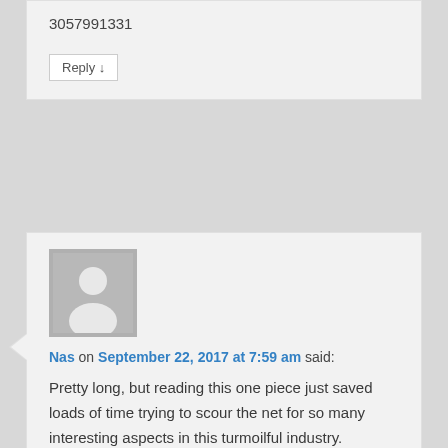3057991331
Reply ↓
[Figure (illustration): Default user avatar – grey square with white silhouette of a person]
Nas on September 22, 2017 at 7:59 am said:
Pretty long, but reading this one piece just saved loads of time trying to scour the net for so many interesting aspects in this turmoilful industry.

Well done!

Can serve as a good reference.